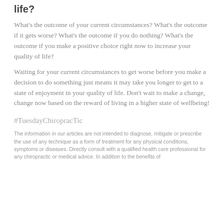life?
What's the outcome of your current circumstances? What's the outcome if it gets worse? What's the outcome if you do nothing? What's the outcome if you make a positive choice right now to increase your quality of life?
Waiting for your current circumstances to get worse before you make a decision to do something just means it may take you longer to get to a state of enjoyment in your quality of life. Don't wait to make a change, change now based on the reward of living in a higher state of wellbeing!
#TuesdayChiropracTic
The information in our articles are not intended to diagnose, mitigate or prescribe the use of any technique as a form of treatment for any physical conditions, symptoms or diseases. Directly consult with a qualified health care professional for any chiropractic or medical advice. In addition to the benefits of